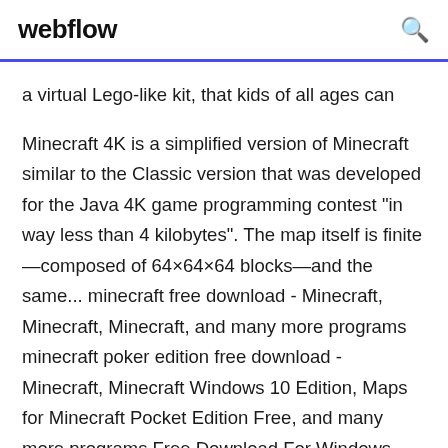webflow
a virtual Lego-like kit, that kids of all ages can
Minecraft 4K is a simplified version of Minecraft similar to the Classic version that was developed for the Java 4K game programming contest "in way less than 4 kilobytes". The map itself is finite—composed of 64×64×64 blocks—and the same... minecraft free download - Minecraft, Minecraft, Minecraft, and many more programs minecraft poker edition free download - Minecraft, Minecraft Windows 10 Edition, Maps for Minecraft Pocket Edition Free, and many more programs Free Download For Windows PC.The description of Wonderful